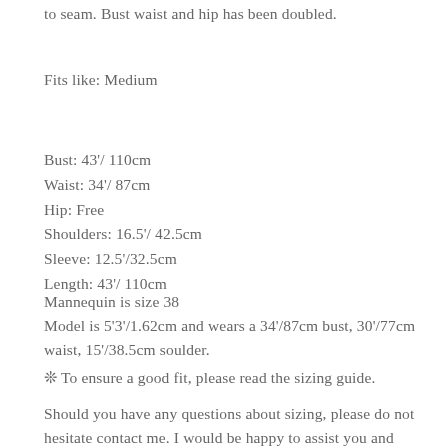to seam. Bust waist and hip has been doubled.
Fits like: Medium
Bust: 43'/ 110cm
Waist: 34'/ 87cm
Hip: Free
Shoulders: 16.5'/ 42.5cm
Sleeve: 12.5'/32.5cm
Length: 43'/ 110cm
Mannequin is size 38
Model is 5'3'/1.62cm and wears a 34'/87cm bust, 30'/77cm waist, 15'/38.5cm soulder.
❊ To ensure a good fit, please read the sizing guide.
Should you have any questions about sizing, please do not hesitate contact me. I would be happy to assist you and ensure the right and perfect for you.